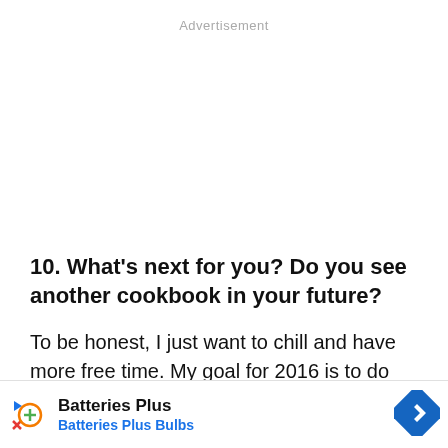Advertisement
10. What’s next for you? Do you see another cookbook in your future?
To be honest, I just want to chill and have more free time. My goal for 2016 is to do more with less, if that makes any sense. I want to learn to say ‘no,’ and not feel b... full of life ev... to
[Figure (other): Batteries Plus advertisement banner at bottom of page showing logo, brand name, and navigation arrow icon]